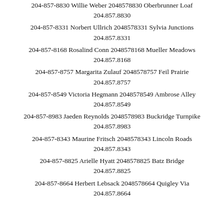204-857-8830 Willie Weber 2048578830 Oberbrunner Loaf 204.857.8830
204-857-8331 Norbert Ullrich 2048578331 Sylvia Junctions 204.857.8331
204-857-8168 Rosalind Conn 2048578168 Mueller Meadows 204.857.8168
204-857-8757 Margarita Zulauf 2048578757 Feil Prairie 204.857.8757
204-857-8549 Victoria Hegmann 2048578549 Ambrose Alley 204.857.8549
204-857-8983 Jaeden Reynolds 2048578983 Buckridge Turnpike 204.857.8983
204-857-8343 Maurine Fritsch 2048578343 Lincoln Roads 204.857.8343
204-857-8825 Arielle Hyatt 2048578825 Batz Bridge 204.857.8825
204-857-8664 Herbert Lebsack 2048578664 Quigley Via 204.857.8664